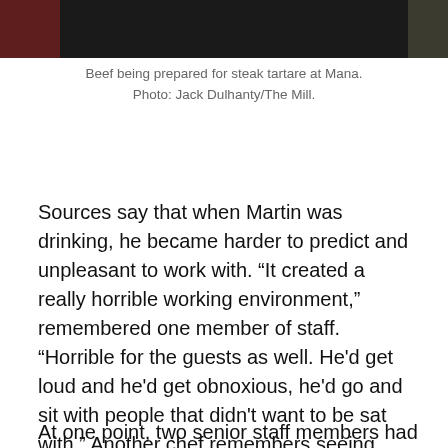[Figure (photo): Dark photograph of beef being prepared for steak tartare at Mana restaurant]
Beef being prepared for steak tartare at Mana.
Photo: Jack Dulhanty/The Mill.
Sources say that when Martin was drinking, he became harder to predict and unpleasant to work with. “It created a really horrible working environment,” remembered one member of staff. “Horrible for the guests as well. He'd get loud and he'd get obnoxious, he'd go and sit with people that didn't want to be sat with.” Another chef remembers seeing guests who were visibly uncomfortable speaking to Martin and describes an occasion when Martin was so incoherent during a service that the restaurant manager asked him to go home. “It was embarrassing for the team when that was happening,” they told us.
At one point, two senior staff members had a private